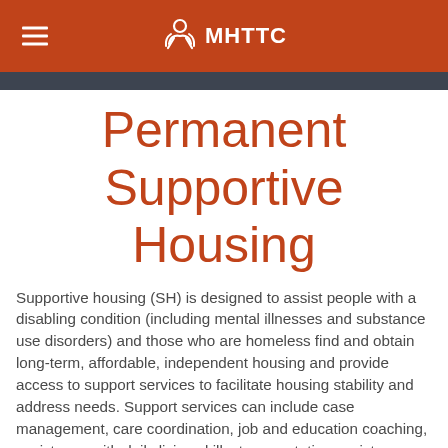MHTTC
Permanent Supportive Housing
Supportive housing (SH) is designed to assist people with a disabling condition (including mental illnesses and substance use disorders) and those who are homeless find and obtain long-term, affordable, independent housing and provide access to support services to facilitate housing stability and address needs. Support services can include case management, care coordination, job and education coaching, assistance with daily living skills, transportation assistance, access to public